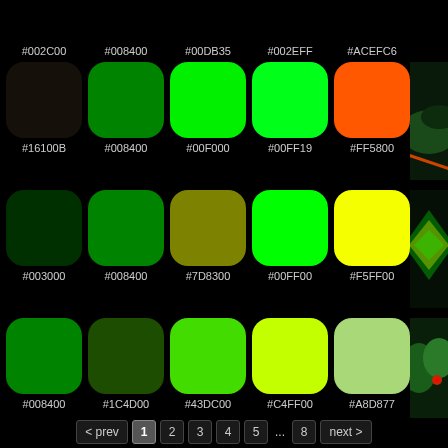#002C00 #008400 #00DB35 #002EFF #ACEFC6
[Figure (infographic): Color swatches row 1: #16100B, #008400, #00F000, #00FF19, #FF5800 with photo of green car]
[Figure (infographic): Color swatches row 2: #003000, #008400, #7D8300, #00FF00, #F5FF00 with green abstract photo]
[Figure (infographic): Color swatches row 3: #008400, #1C4D00, #43DC00, #C4FF00, #A8D877 with photo of plant with ladybug]
< prev  1  2  3  4  5  ...  8  next >